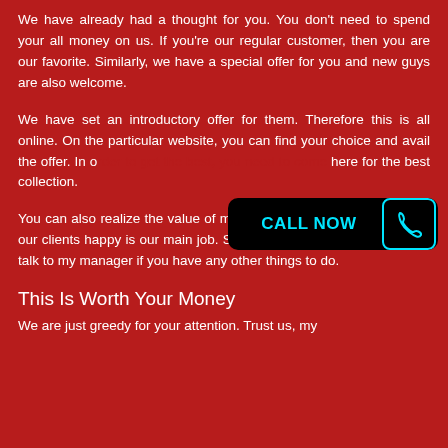We have already had a thought for you. You don't need to spend your all money on us. If you're our regular customer, then you are our favorite. Similarly, we have a special offer for you and new guys are also welcome.
We have set an introductory offer for them. Therefore this is all online. On the particular website, you can find your choice and avail the offer. In o... here for the best collection.
[Figure (infographic): A black rounded rectangle button with cyan text 'CALL NOW' and a cyan phone handset icon on the right]
You can also realize the value of money with us. In addition, making our clients happy is our main job. So feel free to call us anytime and talk to my manager if you have any other things to do.
This Is Worth Your Money
We are just greedy for your attention. Trust us, my